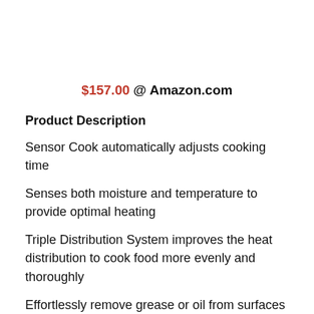$157.00 @ Amazon.com
Product Description
Sensor Cook automatically adjusts cooking time
Senses both moisture and temperature to provide optimal heating
Triple Distribution System improves the heat distribution to cook food more evenly and thoroughly
Effortlessly remove grease or oil from surfaces and